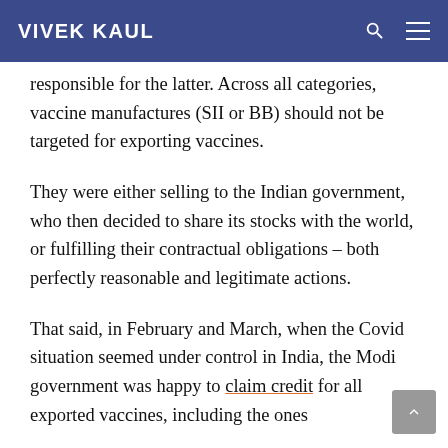VIVEK KAUL
responsible for the latter. Across all categories, vaccine manufactures (SII or BB) should not be targeted for exporting vaccines.
They were either selling to the Indian government, who then decided to share its stocks with the world, or fulfilling their contractual obligations – both perfectly reasonable and legitimate actions.
That said, in February and March, when the Covid situation seemed under control in India, the Modi government was happy to claim credit for all exported vaccines, including the ones...